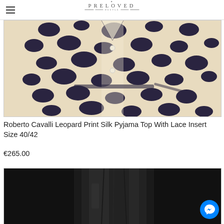PRELOVED
[Figure (photo): Roberto Cavalli leopard print silk pyjama top with lace insert, shown close-up with cream and dark navy/black leopard print pattern and visible buttons]
Roberto Cavalli Leopard Print Silk Pyjama Top With Lace Insert Size 40/42
€265.00
[Figure (photo): Dark black satin/silk fabric item, partial view of a dress or skirt]